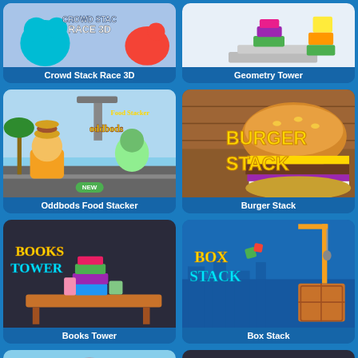[Figure (screenshot): Game card: Crowd Stack Race 3D - colorful 3D characters racing]
Crowd Stack Race 3D
[Figure (screenshot): Game card: Geometry Tower - colorful geometric blocks stacked on platform]
Geometry Tower
[Figure (screenshot): Game card: Oddbods Food Stacker - cartoon characters with food stacking game, NEW badge]
Oddbods Food Stacker
[Figure (screenshot): Game card: Burger Stack - cartoon burger stacking game with yellow text on wooden background]
Burger Stack
[Figure (screenshot): Game card: Books Tower - colorful books stacked on table with Books Tower logo]
Books Tower
[Figure (screenshot): Game card: Box Stack - colorful boxes with crane, city background, Box Stack logo]
Box Stack
[Figure (screenshot): Game card: partially visible at bottom left - red creature]
[Figure (screenshot): Game card: partially visible at bottom right - dark background]